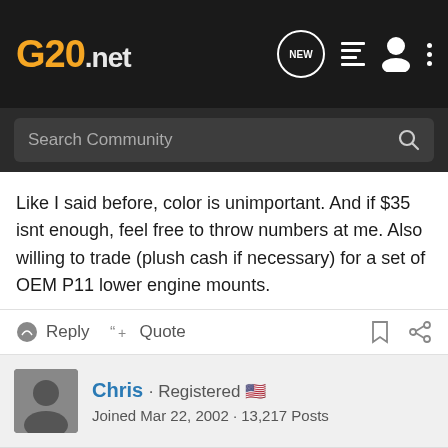G20.net — navigation bar with logo, search, and icons
Like I said before, color is unimportant. And if $35 isnt enough, feel free to throw numbers at me. Also willing to trade (plush cash if necessary) for a set of OEM P11 lower engine mounts.
Reply  Quote
Chris · Registered 🇺🇸  Joined Mar 22, 2002 · 13,217 Posts
#12 · Aug 6, 2013 (Edited)
Yeah, the other thing about this is once you remove the covers, the rest of the seat is pretty much ready for the trash (▶ s obviously easier to get more selling as a complete seat)... just